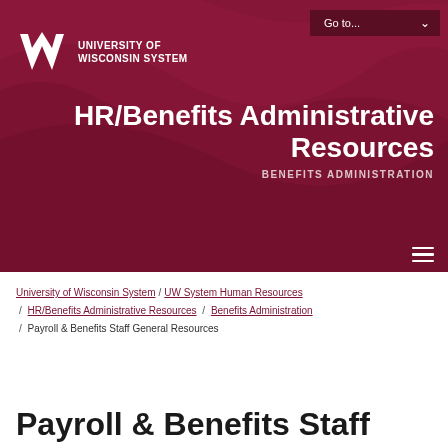[Figure (logo): University of Wisconsin System logo with UW icon and text in white on dark red background]
HR/Benefits Administrative Resources
BENEFITS ADMINISTRATION
University of Wisconsin System / UW System Human Resources / HR/Benefits Administrative Resources / Benefits Administration / Payroll & Benefits Staff General Resources
Payroll & Benefits Staff